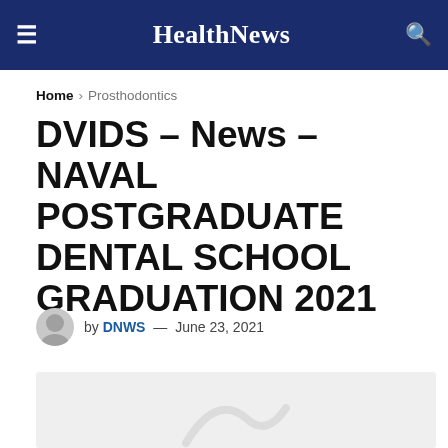HealthNews
Home › Prosthodontics
DVIDS – News – NAVAL POSTGRADUATE DENTAL SCHOOL GRADUATION 2021
by DNWS — June 23, 2021
[Figure (photo): Article featured image placeholder, light grey background with partial watermark/logo visible at bottom]